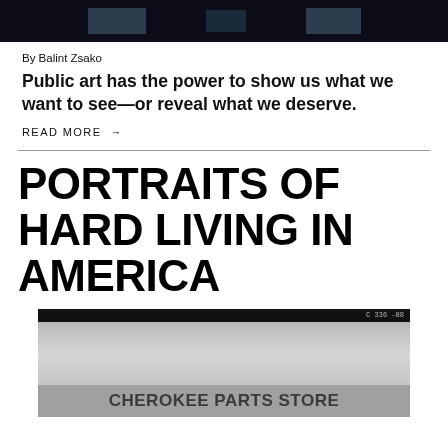[Figure (photo): Dark horizontal banner image showing architectural/building elements against dark background]
By Balint Zsako
Public art has the power to show us what we want to see—or reveal what we deserve.
READ MORE →
PORTRAITS OF HARD LIVING IN AMERICA
[Figure (photo): Black and white photograph showing a building with 'CHEROKEE PARTS STORE' text, overcast sky, timestamp in upper right corner]